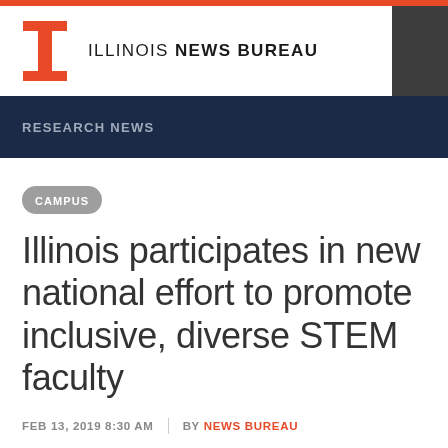ILLINOIS NEWS BUREAU
RESEARCH NEWS
CAMPUS
Illinois participates in new national effort to promote inclusive, diverse STEM faculty
FEB 13, 2019 8:30 AM | BY NEWS BUREAU